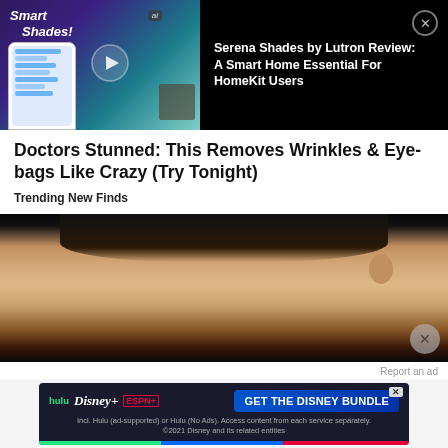[Figure (screenshot): Smart Shades advertisement video thumbnail showing phone app and window shade, with Serena Shades by Lutron review title on black background]
Doctors Stunned: This Removes Wrinkles & Eye-bags Like Crazy (Try Tonight)
Trending New Finds
[Figure (photo): Close-up photo of a young man's face against a black background]
Report an ad
[Figure (screenshot): Disney Bundle advertisement banner showing Hulu, Disney+, ESPN+ logos with GET THE DISNEY BUNDLE button]